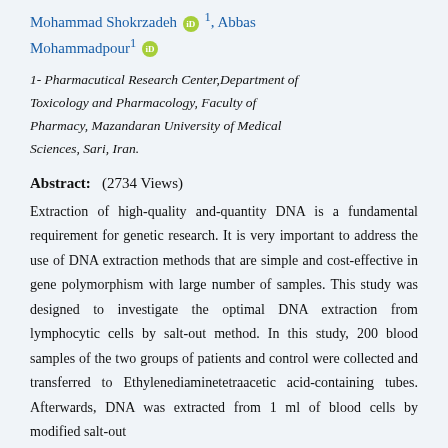Mohammad Shokrzadeh [ORCID] 1, Abbas Mohammadpour1 [ORCID]
1- Pharmacutical Research Center,Department of Toxicology and Pharmacology, Faculty of Pharmacy, Mazandaran University of Medical Sciences, Sari, Iran.
Abstract:   (2734 Views)
Extraction of high-quality and-quantity DNA is a fundamental requirement for genetic research. It is very important to address the use of DNA extraction methods that are simple and cost-effective in gene polymorphism with large number of samples. This study was designed to investigate the optimal DNA extraction from lymphocytic cells by salt-out method. In this study, 200 blood samples of the two groups of patients and control were collected and transferred to Ethylenediaminetetraacetic acid-containing tubes. Afterwards, DNA was extracted from 1 ml of blood cells by modified salt-out